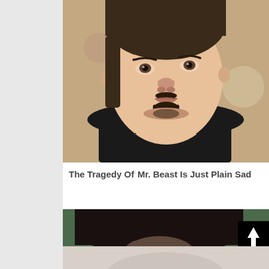[Figure (photo): Close-up photo of a young man with a small mustache and goatee, wearing a black shirt, with a blurred background]
The Tragedy Of Mr. Beast Is Just Plain Sad
[Figure (photo): Partially visible photo of a person with dark hair, with a black scroll-to-top button overlay in the lower right]
[Figure (photo): Partially visible lighter colored image at the very bottom]